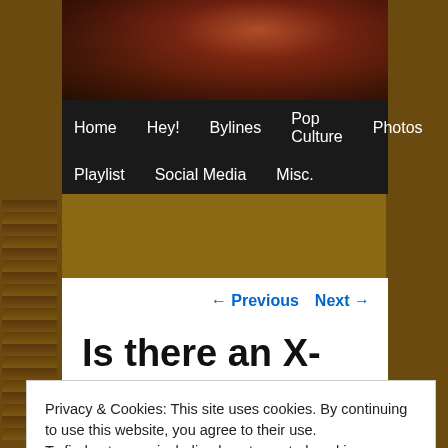[Figure (photo): Website header image with decorative fantasy/gaming artwork background, dark reddish-brown tones with a figure visible]
Home | Hey! | Bylines | Pop Culture | Photos | Playlist | Social Media | Misc.
← Previous   Next →
Is there an X-Men Conspiracy?
Privacy & Cookies: This site uses cookies. By continuing to use this website, you agree to their use.
To find out more, including how to control cookies, see here: Cookie Policy
Close and accept